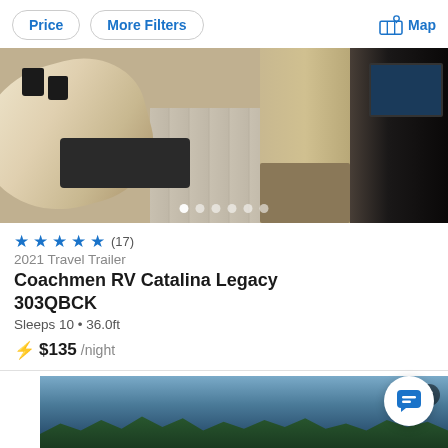Price | More Filters | Map
[Figure (photo): Interior of a travel trailer showing dining table, bench seat, wood-look vinyl flooring, electric fireplace, and TV cabinet]
★★★★★ (17)
2021 Travel Trailer
Coachmen RV Catalina Legacy 303QBCK
Sleeps 10 • 36.0ft
⚡ $135 /night
[Figure (photo): Advertisement banner showing a scenic water/nature view with a close button]